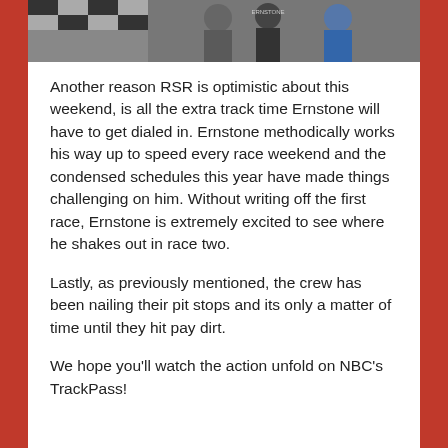[Figure (photo): Partial photo at top showing people in racing gear/suits against a checkered background]
Another reason RSR is optimistic about this weekend, is all the extra track time Ernstone will have to get dialed in. Ernstone methodically works his way up to speed every race weekend and the condensed schedules this year have made things challenging on him. Without writing off the first race, Ernstone is extremely excited to see where he shakes out in race two.
Lastly, as previously mentioned, the crew has been nailing their pit stops and its only a matter of time until they hit pay dirt.
We hope you'll watch the action unfold on NBC's TrackPass!